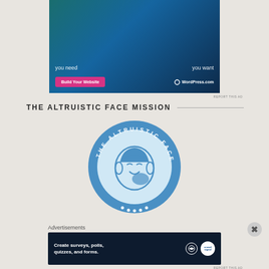[Figure (screenshot): WordPress.com advertisement banner showing overlapping teal/blue circles with text 'you need' and 'you want', a pink 'Build Your Website' button, and WordPress.com logo]
REPORT THIS AD
THE ALTRUISTIC FACE MISSION
[Figure (logo): The Altruistic Face circular logo in blue, showing a girl cleaning her face, with text around the border reading 'THE ALTRUISTIC FACE']
Advertisements
[Figure (screenshot): WordPress.com advertisement for Crowdsignal showing 'Create surveys, polls, quizzes, and forms.' on dark navy background with WordPress and Crowdsignal logos]
REPORT THIS AD